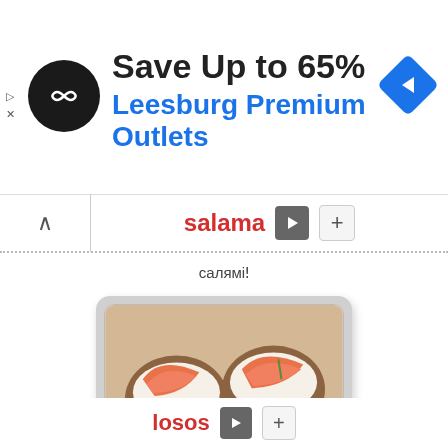[Figure (screenshot): Advertisement banner for Leesburg Premium Outlets showing save up to 65% with logo and navigation arrow]
salama ▶ +
саляміǃ
[Figure (photo): Photo of salmon appetizers on crackers with cream cheese and chives]
losos ▶ +